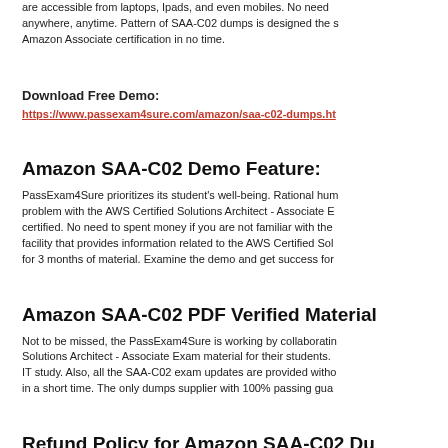are accessible from laptops, Ipads, and even mobiles. No need to anywhere, anytime. Pattern of SAA-C02 dumps is designed the s Amazon Associate certification in no time.
Download Free Demo:
https://www.passexam4sure.com/amazon/saa-c02-dumps.ht
Amazon SAA-C02 Demo Feature:
PassExam4Sure prioritizes its student's well-being. Rational hum problem with the AWS Certified Solutions Architect - Associate E certified. No need to spent money if you are not familiar with the facility that provides information related to the AWS Certified Sol for 3 months of material. Examine the demo and get success for
Amazon SAA-C02 PDF Verified Material
Not to be missed, the PassExam4Sure is working by collaboratin Solutions Architect - Associate Exam material for their students. IT study. Also, all the SAA-C02 exam updates are provided witho in a short time. The only dumps supplier with 100% passing gua
Refund Policy for Amazon SAA-C02 Du